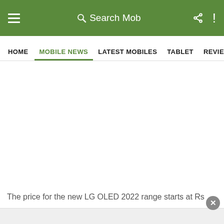Search Mob
HOME  MOBILE NEWS  LATEST MOBILES  TABLET  REVIEWS  FE...
The price for the new LG OLED 2022 range starts at Rs